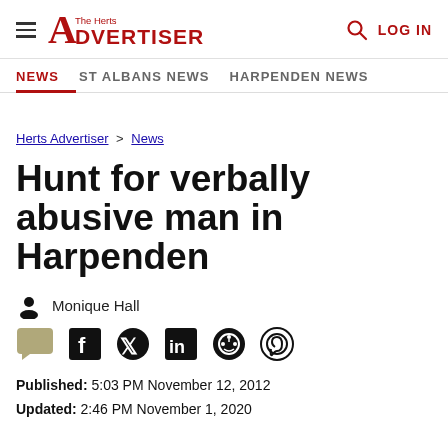The Herts Advertiser — LOG IN
NEWS  ST ALBANS NEWS  HARPENDEN NEWS
Herts Advertiser > News
Hunt for verbally abusive man in Harpenden
Monique Hall
Published: 5:03 PM November 12, 2012
Updated: 2:46 PM November 1, 2020